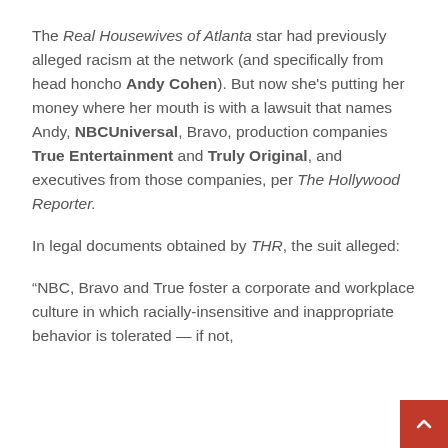The Real Housewives of Atlanta star had previously alleged racism at the network (and specifically from head honcho Andy Cohen). But now she's putting her money where her mouth is with a lawsuit that names Andy, NBCUniversal, Bravo, production companies True Entertainment and Truly Original, and executives from those companies, per The Hollywood Reporter.
In legal documents obtained by THR, the suit alleged:
“NBC, Bravo and True foster a corporate and workplace culture in which racially-insensitive and inappropriate behavior is tolerated — if not,